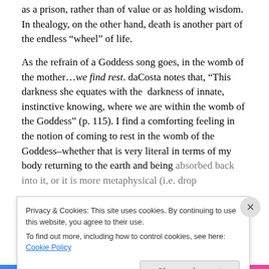as a prison, rather than of value or as holding wisdom. In thealogy, on the other hand, death is another part of the endless “wheel” of life.
As the refrain of a Goddess song goes, in the womb of the mother…we find rest. daCosta notes that, “This darkness she equates with the darkness of innate, instinctive knowing, where we are within the womb of the Goddess” (p. 115). I find a comforting feeling in the notion of coming to rest in the womb of the Goddess–whether that is very literal in terms of my body returning to the earth and being absorbed back into it, or it is more metaphysical (i.e. drop
Privacy & Cookies: This site uses cookies. By continuing to use this website, you agree to their use.
To find out more, including how to control cookies, see here: Cookie Policy